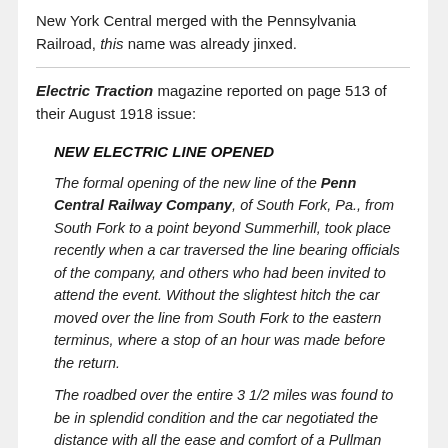New York Central merged with the Pennsylvania Railroad, this name was already jinxed.
Electric Traction magazine reported on page 513 of their August 1918 issue:
NEW ELECTRIC LINE OPENED
The formal opening of the new line of the Penn Central Railway Company, of South Fork, Pa., from South Fork to a point beyond Summerhill, took place recently when a car traversed the line bearing officials of the company, and others who had been invited to attend the event. Without the slightest hitch the car moved over the line from South Fork to the eastern terminus, where a stop of an hour was made before the return.
The roadbed over the entire 3 1/2 miles was found to be in splendid condition and the car negotiated the distance with all the ease and comfort of a Pullman